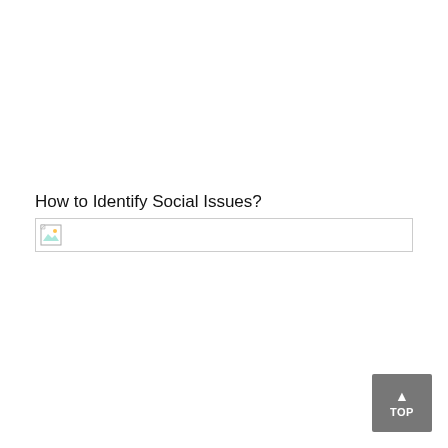How to Identify Social Issues?
[Figure (other): Broken/missing image placeholder shown as a small icon with border]
TOP